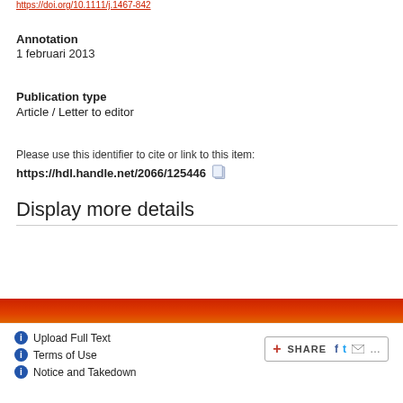https://doi.org/10.1111/j.1467-842
Annotation
1 februari 2013
Publication type
Article / Letter to editor
Please use this identifier to cite or link to this item:
https://hdl.handle.net/2066/125446
Display more details
Upload full text
Upload Full Text | Terms of Use | Notice and Takedown | SHARE
Upload Full Text
Terms of Use
Notice and Takedown